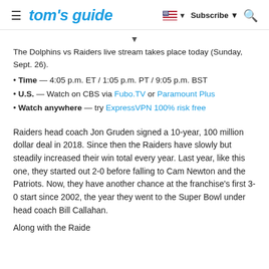tom's guide | Subscribe
The Dolphins vs Raiders live stream takes place today (Sunday, Sept. 26).
Time — 4:05 p.m. ET / 1:05 p.m. PT / 9:05 p.m. BST
U.S. — Watch on CBS via Fubo.TV or Paramount Plus
Watch anywhere — try ExpressVPN 100% risk free
Raiders head coach Jon Gruden signed a 10-year, 100 million dollar deal in 2018. Since then the Raiders have slowly but steadily increased their win total every year. Last year, like this one, they started out 2-0 before falling to Cam Newton and the Patriots. Now, they have another chance at the franchise's first 3-0 start since 2002, the year they went to the Super Bowl under head coach Bill Callahan.
Along with the Raiders...